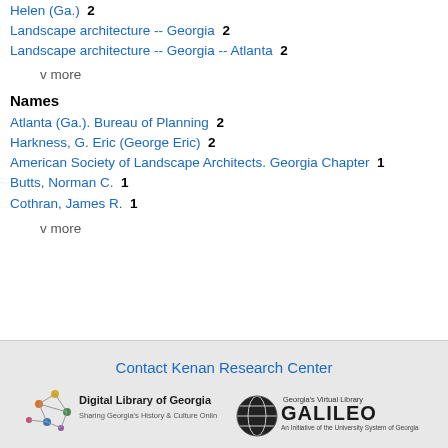Helen (Ga.)  2
Landscape architecture -- Georgia  2
Landscape architecture -- Georgia -- Atlanta  2
v more
Names
Atlanta (Ga.). Bureau of Planning  2
Harkness, G. Eric (George Eric)  2
American Society of Landscape Architects. Georgia Chapter  1
Butts, Norman C.  1
Cothran, James R.  1
v more
Contact Kenan Research Center
[Figure (logo): Digital Library of Georgia logo with network/map icon and text 'Sharing Georgia's History & Culture Online']
[Figure (logo): GALILEO logo - Georgia's Virtual Library, An Initiative of the University System of Georgia]